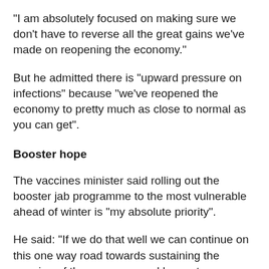"I am absolutely focused on making sure we don't have to reverse all the great gains we've made on reopening the economy."
But he admitted there is "upward pressure on infections" because "we've reopened the economy to pretty much as close to normal as you can get".
Booster hope
The vaccines minister said rolling out the booster jab programme to the most vulnerable ahead of winter is "my absolute priority".
He said: "If we do that well we can continue on this one way road towards sustaining the opening of the economy, and by next year hopefully transitioning this virus from pandemic to endemic and dealing with it on an annual basis."